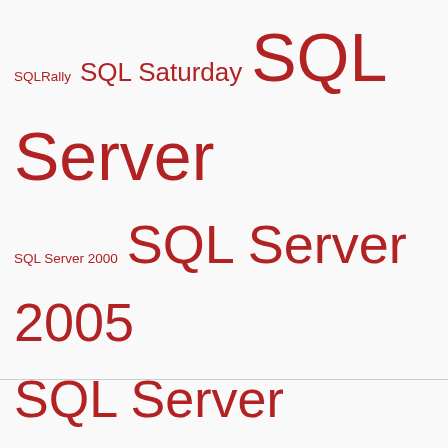[Figure (infographic): Tag cloud with SQL Server related terms in various font sizes, all in dark red color. Terms include SQLRally, SQL Saturday, SQL Server, SQL Server 2000, SQL Server 2005, SQL Server 2008, SQL Server 2008 R2, SQL Server 2012, SQLServerSyndication, SSIS, SSRS, StmtUseDb, sys.dm_db_index_operational_stats, sys.dm_db_operational_stats, sys.dm_exec_cached_plans, sys.dm_exec_query_plan, T-SQL, Thanksgiving, Tip, Tool, Troubleshooting, Virtualization, Visual Studio, Wait Stat, Wait Type, Webcast, White Paper, XQuery]